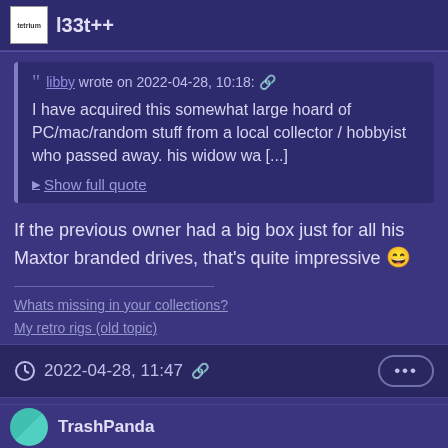l33t++
libby wrote on 2022-04-28, 10:18: 🔗
I have acquired this somewhat large hoard of PC/mac/random stuff from a local collector / hobbyist who passed away. his widow wa [...]
▶ Show full quote
If the previous owner had a big box just for all his Maxtor branded drives, that's quite impressive 😄
Whats missing in your collections?
My retro rigs (old topic)
Interesting Vogons threads (links to Vogonswiki)
Report spammers here!
2022-04-28, 11:47 🔗  •••
TrashPanda